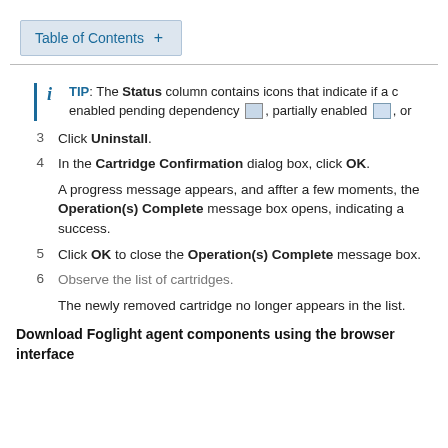Table of Contents +
TIP: The Status column contains icons that indicate if a c enabled pending dependency, partially enabled, or
3  Click Uninstall.
4  In the Cartridge Confirmation dialog box, click OK.
A progress message appears, and affter a few moments, the Operation(s) Complete message box opens, indicating a success.
5  Click OK to close the Operation(s) Complete message box.
6  Observe the list of cartridges.
The newly removed cartridge no longer appears in the list.
Download Foglight agent components using the browser interface